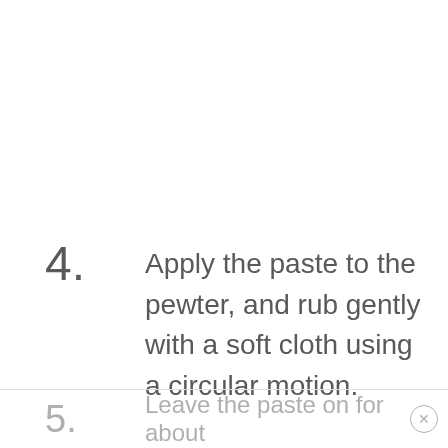4. Apply the paste to the pewter, and rub gently with a soft cloth using a circular motion.
5. Leave the paste on for about